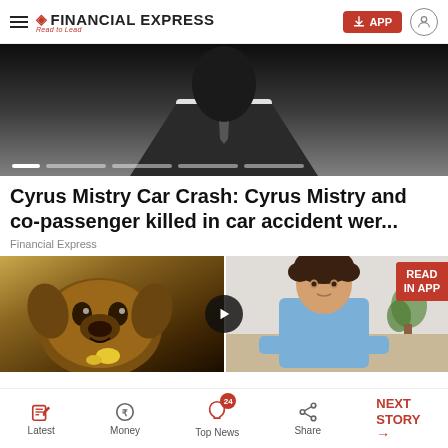FINANCIAL EXPRESS — Read to Lead
[Figure (photo): Dark background image of a man in a suit, used as a news story slider image with pagination dots at the bottom]
Cyrus Mistry Car Crash: Cyrus Mistry and co-passenger killed in car accident wer...
Financial Express
[Figure (photo): Split image: left side shows a pug dog close-up, right side shows a man in a blue shirt sitting at a desk. There is a play button in the center and a 'READ IN APP' badge on the right.]
Latest | Money | Top News (24) | Share | NEXT STORY →